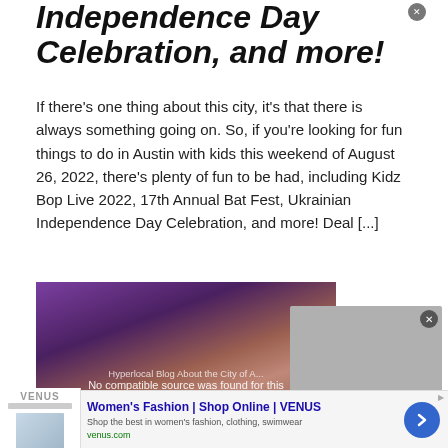Independence Day Celebration, and more!
If there's one thing about this city, it's that there is always something going on. So, if you're looking for fun things to do in Austin with kids this weekend of August 26, 2022, there's plenty of fun to be had, including Kidz Bop Live 2022, 17th Annual Bat Fest, Ukrainian Independence Day Celebration, and more! Deal [...]
[Figure (photo): Photo of three women smiling at a crowded event/party with purple lighting, with a video overlay showing 'Hyperlocal Blog About the City of A...' and 'No compatible source was found for this media.']
[Figure (screenshot): Advertisement for Women's Fashion | Shop Online | VENUS. Shows thumbnail, headline, description 'Shop the best in women's fashion, clothing, swimwear', URL 'venus.com', and a blue arrow button.]